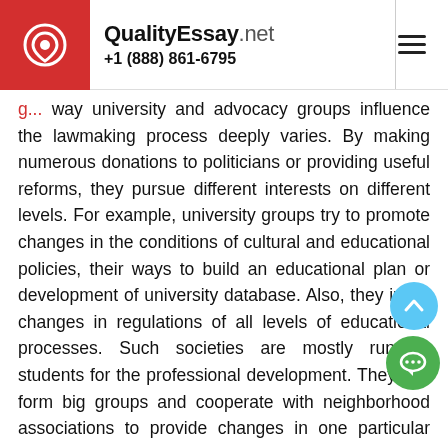QualityEssay.net +1 (888) 861-6795
way university and advocacy groups influence the lawmaking process deeply varies. By making numerous donations to politicians or providing useful reforms, they pursue different interests on different levels. For example, university groups try to promote changes in the conditions of cultural and educational policies, their ways to build an educational plan or development of university database. Also, they imply changes in regulations of all levels of educational processes. Such societies are mostly run by students for the professional development. They can form big groups and cooperate with neighborhood associations to provide changes in one particular university and college or in a whole state policy. Regarding one university, interest groups can from according to their interests and type of reforms. For example, there are professionals like American Chemical Society, debate and international societies. Due to their position and directionality, they formulate and highlight possible innovations on the university and more senior